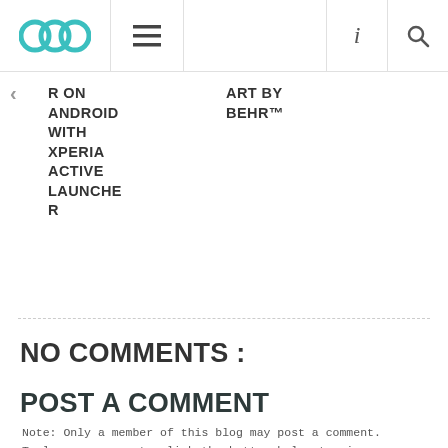OOC [logo] | ≡ | i | 🔍
R ON ANDROID WITH XPERIA ACTIVE LAUNCHER
ART BY BEHR™
NO COMMENTS :
POST A COMMENT
Note: Only a member of this blog may post a comment.
To leave a comment, click the button below to sign